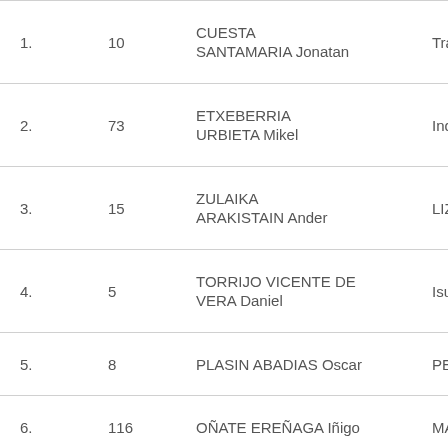| # | Bib | Name | Club |
| --- | --- | --- | --- |
| 1. | 10 | CUESTA SANTAMARIA Jonatan | Trail... |
| 2. | 73 | ETXEBERRIA URBIETA Mikel | Inda... |
| 3. | 15 | ZULAIKA ARAKISTAIN Ander | LIZA... |
| 4. | 5 | TORRIJO VICENTE DE VERA Daniel | Isua... |
| 5. | 8 | PLASIN ABADIAS Oscar | PEÑA... |
| 6. | 116 | OÑATE EREÑAGA Iñigo | MAN... |
| 7. | 1 | FRECHILLA TOLEDO Raul | Helly... |
| 8. | 148 | ZAPATA TARIFA Tomàs | Club Alpic... |